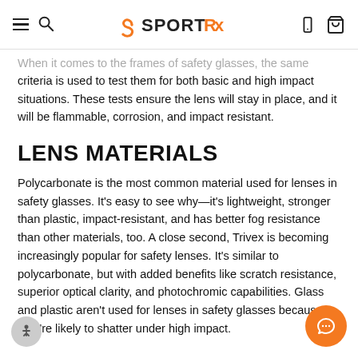SportRx
When it comes to the frames of safety glasses, the same criteria is used to test them for both basic and high impact situations. These tests ensure the lens will stay in place, and it will be flammable, corrosion, and impact resistant.
LENS MATERIALS
Polycarbonate is the most common material used for lenses in safety glasses. It's easy to see why—it's lightweight, stronger than plastic, impact-resistant, and has better fog resistance than other materials, too. A close second, Trivex is becoming increasingly popular for safety lenses. It's similar to polycarbonate, but with added benefits like scratch resistance, superior optical clarity, and photochromic capabilities. Glass and plastic aren't used for lenses in safety glasses because they're likely to shatter under high impact.